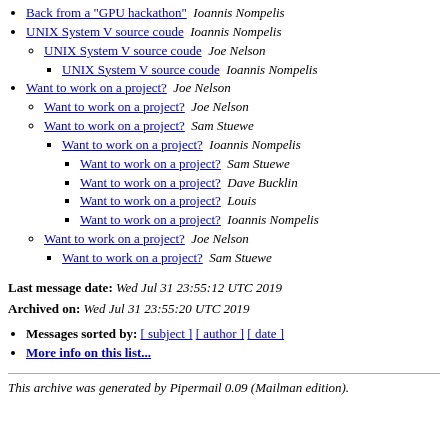Back from a "GPU hackathon"  Ioannis Nompelis
UNIX System V source coude  Ioannis Nompelis
UNIX System V source coude  Joe Nelson
UNIX System V source coude  Ioannis Nompelis
Want to work on a project?  Joe Nelson
Want to work on a project?  Joe Nelson
Want to work on a project?  Sam Stuewe
Want to work on a project?  Ioannis Nompelis
Want to work on a project?  Sam Stuewe
Want to work on a project?  Dave Bucklin
Want to work on a project?  Louis
Want to work on a project?  Ioannis Nompelis
Want to work on a project?  Joe Nelson
Want to work on a project?  Sam Stuewe
Last message date: Wed Jul 31 23:55:12 UTC 2019
Archived on: Wed Jul 31 23:55:20 UTC 2019
Messages sorted by: [ subject ] [ author ] [ date ]
More info on this list...
This archive was generated by Pipermail 0.09 (Mailman edition).